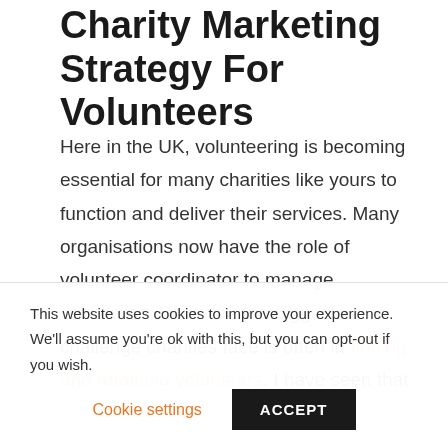Charity Marketing Strategy For Volunteers
Here in the UK, volunteering is becoming essential for many charities like yours to function and deliver their services. Many organisations now have the role of volunteer coordinator to manage volunteers. However, the biggest challenge charities face is often in finding and retaining volunteers. I have seen that
This website uses cookies to improve your experience. We'll assume you're ok with this, but you can opt-out if you wish.